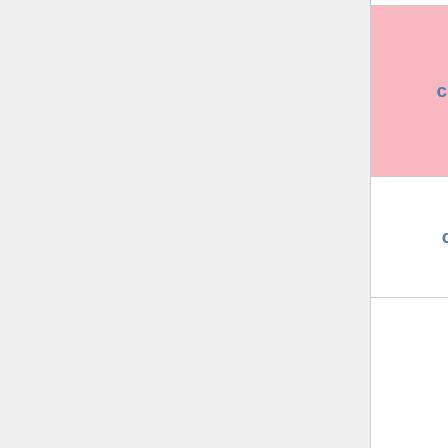| Name | Value | Date |
| --- | --- | --- |
| cmplx-it +/- | ? | 2022-0
31 |
| cutt.us +/- | ? | 2016-0
27 |
| da-gd +/- | 165,000 | 2016-0
16 |
| df4-us +/- | 25,133 | 2017-0
18 |